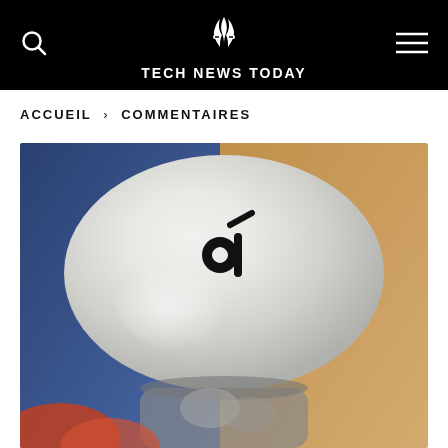TECH NEWS TODAY
ACCUEIL › COMMENTAIRES
[Figure (photo): Close-up photo of a silver/white wireless earbud case with a stylized 'd' logo (Soundcore/Anker brand) in black. The case has a smooth matte surface and there appears to be an earbud tip visible at the bottom. Background shows a warm orange/copper tone.]